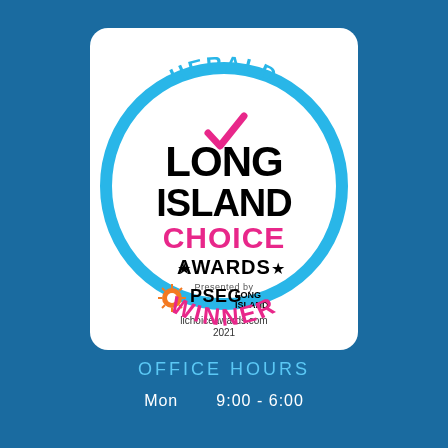[Figure (logo): Herald Long Island Choice Awards 2021 Winner badge. A white rounded rectangle containing a circular blue ring. Inside the ring: 'HERALD' arched at top in bold cyan, a pink checkmark inside a circle, large bold black text 'LONG ISLAND', bold pink text 'CHOICE', bold black text '★ AWARDS ★', 'Presented by' text, PSEG Long Island logo with orange sun icon, 'lichoiceawards.com', '2021', and 'WINNER' arched at bottom in bold pink. Background is dark blue.]
OFFICE HOURS
Mon      9:00 - 6:00